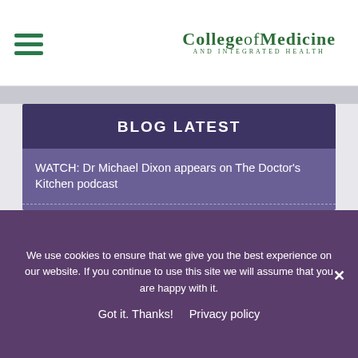College of Medicine and Integrated Health
BLOG LATEST
WATCH: Dr Michael Dixon appears on The Doctor's Kitchen podcast
The College of Medicine in HSJ: “Patients are being deprived of better outcomes because of a lack of awareness of social prescribing”
“Current medicine is failing spectacularly”: Dr Michael
We use cookies to ensure that we give you the best experience on our website. If you continue to use this site we will assume that you are happy with it.
Got it. Thanks!   Privacy policy